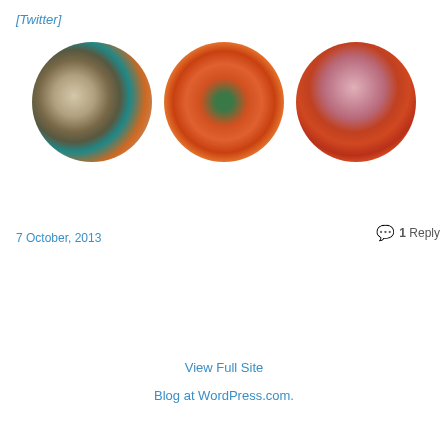[Twitter]
[Figure (photo): Three circular cropped photos of yarn and knitting: left shows beige knit fabric with teal yarn balls, center shows orange chunky yarn/scarf hanging against green background, right shows pink and orange yarn balls in bins.]
7 October, 2013
1 Reply
View Full Site
Blog at WordPress.com.